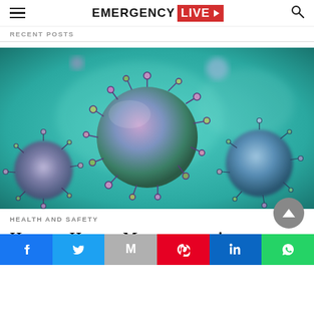EMERGENCY LIVE
RECENT POSTS
[Figure (photo): 3D render of Human Metapneumovirus particles — spherical virus structures with surface spikes and protrusions on a teal/green blurred background]
HEALTH AND SAFETY
How are Human Metapneumovirus infections contracted?
Facebook | Twitter | Gmail | Pinterest | LinkedIn | WhatsApp